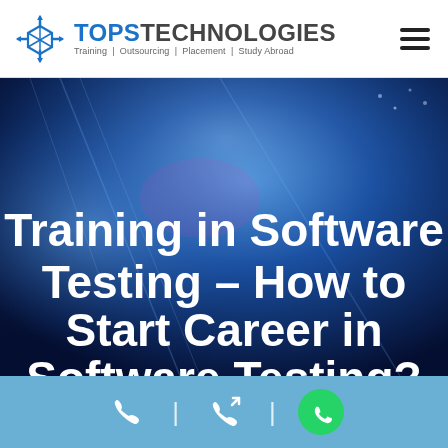TOPS TECHNOLOGIES — Training | Outsourcing | Placement | Study Abroad
[Figure (screenshot): Hero banner with blue digital background and white bold heading text: Training in Software Testing – How to Start Career in Software Testing?]
Training in Software Testing – How to Start Career in Software Testing?
Phone | Callback | WhatsApp contact icons footer bar